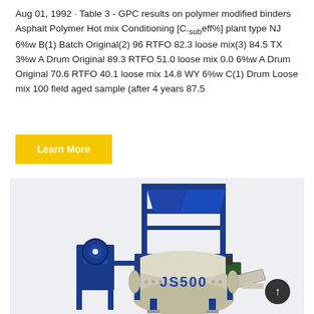Aug 01, 1992 · Table 3 - GPC results on polymer modified binders Asphalt Polymer Hot mix Conditioning [C.sub.eff%] plant type NJ 6%w B(1) Batch Original(2) 96 RTFO 82.3 loose mix(3) 84.5 TX 3%w A Drum Original 89.3 RTFO 51.0 loose mix 0.0 6%w A Drum Original 70.6 RTFO 40.1 loose mix 14.8 WY 6%w C(1) Drum Loose mix 100 field aged sample (after 4 years 87.5
Learn More
[Figure (photo): Industrial concrete mixer machine JS500 — a blue and beige heavy-duty twin-shaft mixer with hopper on top, mounted on a frame, with JS500 label on the drum body.]